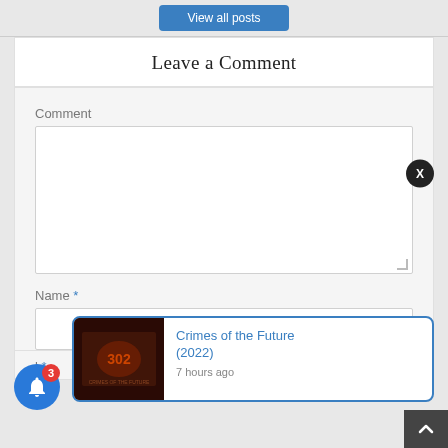[Figure (screenshot): Blue 'View all posts' button at top of page]
Leave a Comment
Comment
[Figure (screenshot): Empty comment textarea field]
Name *
[Figure (screenshot): Empty name input field]
[Figure (screenshot): Notification popup showing 'Crimes of the Future (2022)' posted 7 hours ago, with bell icon showing badge count of 3]
Crimes of the Future (2022)
7 hours ago